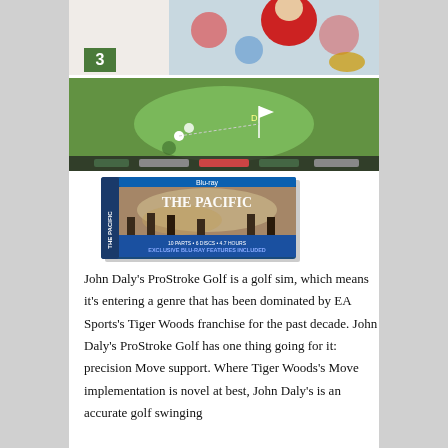[Figure (photo): John Daly's ProStroke Golf game cover/screenshot showing a golfer in red swinging, with colorful graphic elements and a number 3 badge]
[Figure (photo): Screenshot of a golf course video game showing an overhead/top-down view of a putting green with a ball, flag, and trajectory line]
[Figure (photo): The Pacific Blu-ray box set packaging with blue steelbook case showing soldiers in battle]
John Daly's ProStroke Golf is a golf sim, which means it's entering a genre that has been dominated by EA Sports's Tiger Woods franchise for the past decade. John Daly's ProStroke Golf has one thing going for it: precision Move support. Where Tiger Woods's Move implementation is novel at best, John Daly's is an accurate golf swinging